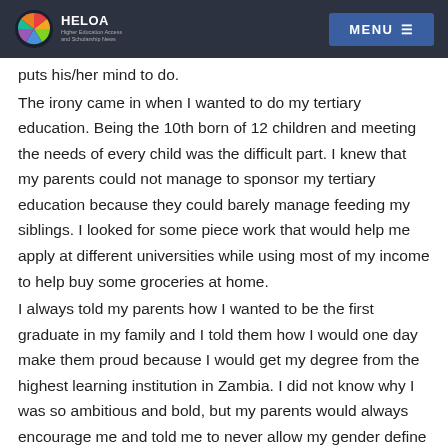HELOA MENU
puts his/her mind to do.
The irony came in when I wanted to do my tertiary education. Being the 10th born of 12 children and meeting the needs of every child was the difficult part. I knew that my parents could not manage to sponsor my tertiary education because they could barely manage feeding my siblings. I looked for some piece work that would help me apply at different universities while using most of my income to help buy some groceries at home.
I always told my parents how I wanted to be the first graduate in my family and I told them how I would one day make them proud because I would get my degree from the highest learning institution in Zambia. I did not know why I was so ambitious and bold, but my parents would always encourage me and told me to never allow my gender define